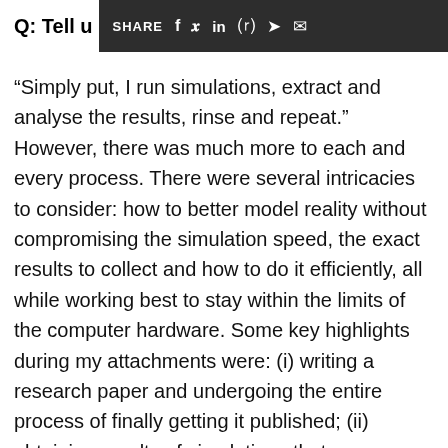Q: Tell u   SHARE  f  y  in  ©  ✈  ✉
“Simply put, I run simulations, extract and analyse the results, rinse and repeat.” However, there was much more to each and every process. There were several intricacies to consider: how to better model reality without compromising the simulation speed, the exact results to collect and how to do it efficiently, all while working best to stay within the limits of the computer hardware. Some key highlights during my attachments were: (i) writing a research paper and undergoing the entire process of finally getting it published; (ii) obtaining results of simulations that were run using high performance computing, which would otherwise have instantly filled up the entire storage of my laptop; and (iii) attending an